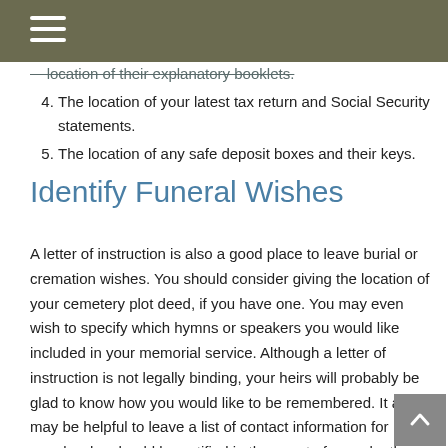location of their explanatory booklets. (partial/strikethrough — top cutoff)
4. The location of your latest tax return and Social Security statements.
5. The location of any safe deposit boxes and their keys.
Identify Funeral Wishes
A letter of instruction is also a good place to leave burial or cremation wishes. You should consider giving the location of your cemetery plot deed, if you have one. You may even wish to specify which hymns or speakers you would like included in your memorial service. Although a letter of instruction is not legally binding, your heirs will probably be glad to know how you would like to be remembered. It also may be helpful to leave a list of contact information for people who should be notified in the event of your death.
They should also record the name and contact information (partial — bottom cutoff)